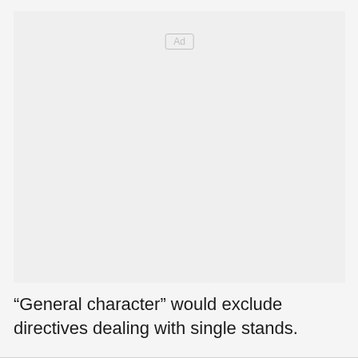[Figure (other): Advertisement placeholder box with 'Ad' label in center-top area]
“General character” would exclude directives dealing with single stands.